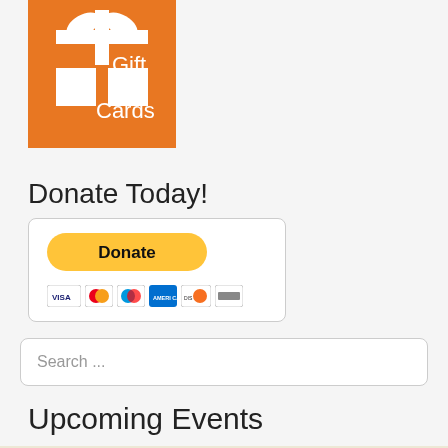[Figure (illustration): Orange gift card icon with white gift box and 'Gift Cards' text]
Donate Today!
[Figure (other): PayPal Donate button with payment card icons: VISA, Mastercard, Maestro, Amex, Discover, and another card]
Search ...
Upcoming Events
[Figure (photo): Outdoor event photo with '49th Annual' text overlay and a logo box in the lower right]